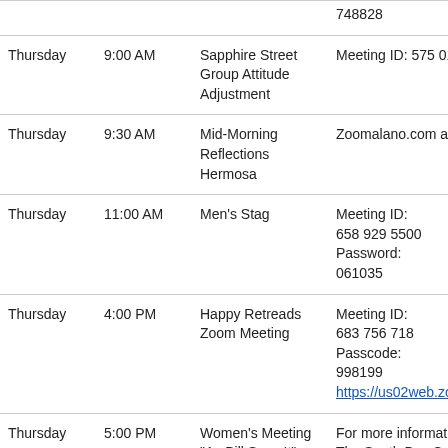| Day | Time | Meeting | Details |
| --- | --- | --- | --- |
|  |  |  | 748828 |
| Thursday | 9:00 AM | Sapphire Street Group Attitude Adjustment | Meeting ID: 575 015 497 |
| Thursday | 9:30 AM | Mid-Morning Reflections Hermosa | Zoomalano.com a host w |
| Thursday | 11:00 AM | Men's Stag | Meeting ID: 658 929 5500 Password: 061035 |
| Thursday | 4:00 PM | Happy Retreads Zoom Meeting | Meeting ID: 683 756 718 Passcode: 998199 https://us02web.zoom.us |
| Thursday | 5:00 PM | Women's Meeting "As Bill Sees It" | For more information co The South Bay Central O |